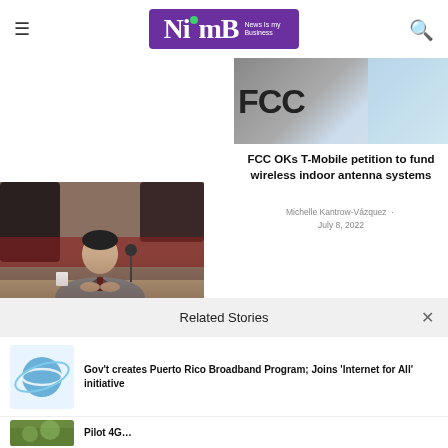NimB News Is my Business
[Figure (photo): FCC logo with partial text and blue background, partial view of a phone]
FCC OKs T-Mobile petition to fund wireless indoor antenna systems
Michelle Kantrow-Vázquez · July 8, 2022
[Figure (photo): Man in grey suit seated at a table with microphone, in a hearing or conference room]
Related Stories
[Figure (illustration): Globe with ring around it illustration, blue tones]
Gov't creates Puerto Rico Broadband Program; Joins 'Internet for All' initiative
[Figure (photo): Green foliage/outdoor scene, thumbnail]
Pilot 4G...